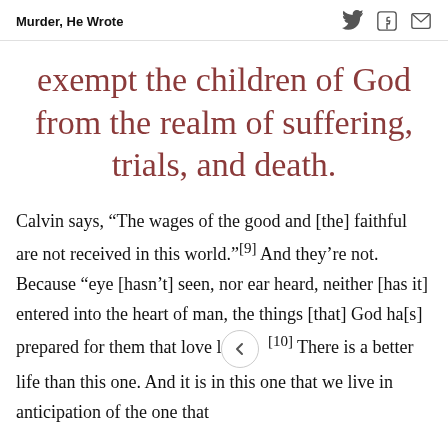Murder, He Wrote
exempt the children of God from the realm of suffering, trials, and death.
Calvin says, “The wages of the good and [the] faithful are not received in this world.”[9] And they’re not. Because “eye [hasn’t] seen, nor ear heard, neither [has it] entered into the heart of man, the things [that] God ha[s] prepared for them that love l[10] There is a better life than this one. And it is in this one that we live in anticipation of the one that